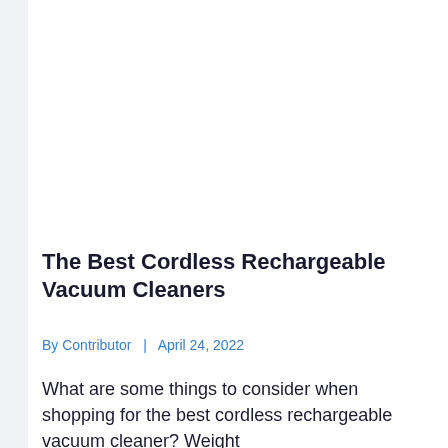The Best Cordless Rechargeable Vacuum Cleaners
By Contributor  |  April 24, 2022
What are some things to consider when shopping for the best cordless rechargeable vacuum cleaner? Weight